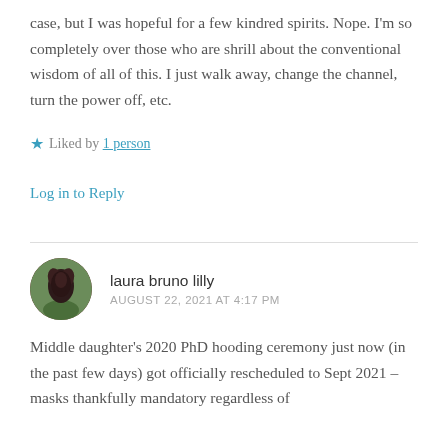case, but I was hopeful for a few kindred spirits. Nope. I'm so completely over those who are shrill about the conventional wisdom of all of this. I just walk away, change the channel, turn the power off, etc.
★ Liked by 1 person
Log in to Reply
laura bruno lilly
AUGUST 22, 2021 AT 4:17 PM
Middle daughter's 2020 PhD hooding ceremony just now (in the past few days) got officially rescheduled to Sept 2021 – masks thankfully mandatory regardless of